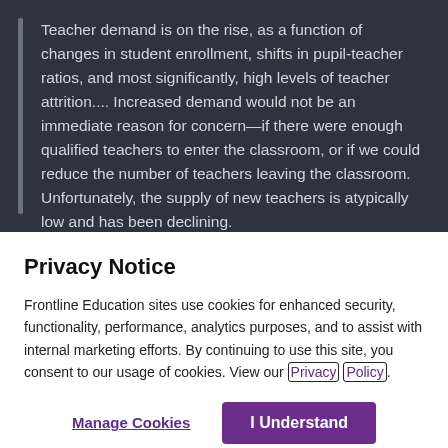Teacher demand is on the rise, as a function of changes in student enrollment, shifts in pupil-teacher ratios, and most significantly, high levels of teacher attrition.... Increased demand would not be an immediate reason for concern—if there were enough qualified teachers to enter the classroom, or if we could reduce the number of teachers leaving the classroom. Unfortunately, the supply of new teachers is atypically low and has been declining.
Privacy Notice
Frontline Education sites use cookies for enhanced security, functionality, performance, analytics purposes, and to assist with internal marketing efforts. By continuing to use this site, you consent to our usage of cookies. View our Privacy Policy.